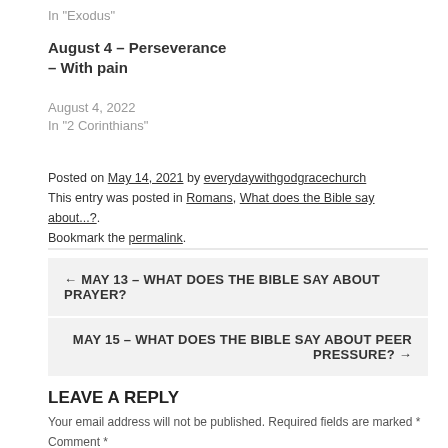In "Exodus"
August 4 – Perseverance – With pain
August 4, 2022
In "2 Corinthians"
Posted on May 14, 2021 by everydaywithgodgracechurch
This entry was posted in Romans, What does the Bible say about...?. Bookmark the permalink.
← MAY 13 – WHAT DOES THE BIBLE SAY ABOUT PRAYER?
MAY 15 – WHAT DOES THE BIBLE SAY ABOUT PEER PRESSURE? →
LEAVE A REPLY
Your email address will not be published. Required fields are marked *
Comment *